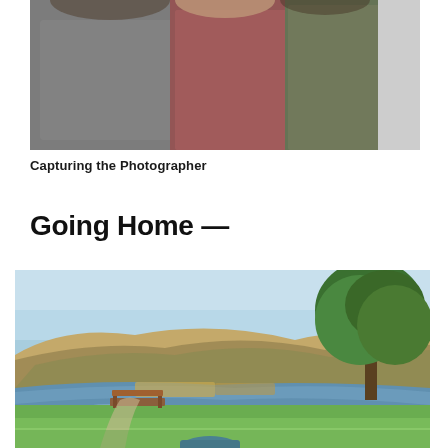[Figure (photo): Photo of people from behind, showing backs of heads and shoulders - gray, pink/maroon, olive, and white shirts. Appears to be capturing a photographer at work.]
Capturing the Photographer
Going Home —
[Figure (photo): Outdoor landscape photo showing a park scene with green grass in the foreground, a river or lake in the middle, a hillside with sparse vegetation in the background, and a large leafy tree on the right side. There is a bench and path visible near the water. A blue object is partially visible at the bottom.]